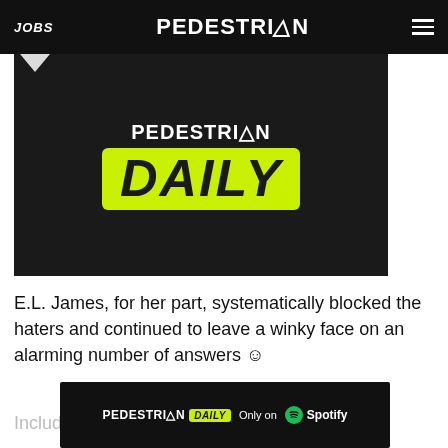JOBS  PEDESTRIAN  ☰
[Figure (logo): Pedestrian Daily logo on dark background — white 'PEDESTRIAN' text above a bright yellow-green rounded rectangle containing bold italic black 'DAILY' text]
E.L. James, for her part, systematically blocked the haters and continued to leave a winky face on an alarming number of answers ☺
Includi
[Figure (logo): Pedestrian Daily Spotify ad banner — dark background with white 'PEDESTRIAN' logo, green-yellow 'DAILY' pill badge, 'Only on' text and Spotify logo]